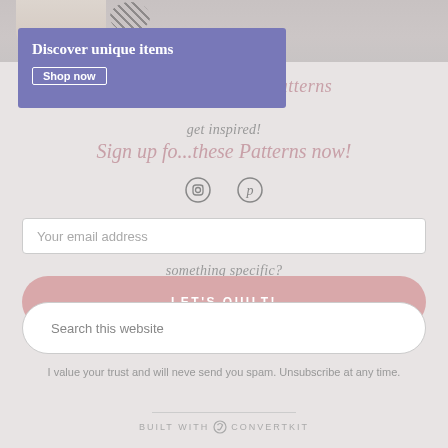[Figure (photo): Top portion of a webpage screenshot showing a hand pointing and a decorative ad banner overlay with quilting content]
5 diffe...ham Quilt Patterns
get inspired!
Sign up fo...Patterns now!
[Figure (infographic): Instagram and Pinterest social media icons in circles]
Your email address
something specific?
LET'S QUILT!
Search this website
I value your trust and will neve send you spam. Unsubscribe at any time.
BUILT WITH ConvertKit